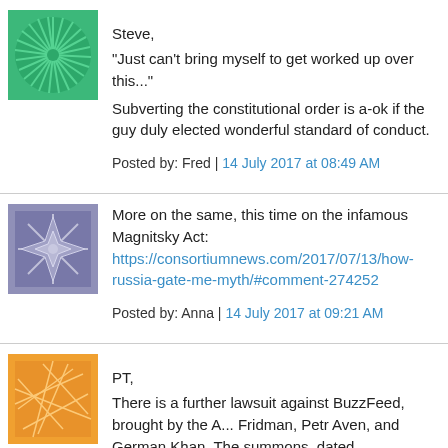Steve,

"Just can't bring myself to get worked up over this..."

Subverting the constitutional order is a-ok if the guy duly elected wonderful standard of conduct.

Posted by: Fred | 14 July 2017 at 08:49 AM
More on the same, this time on the infamous Magnitsky Act:
https://consortiumnews.com/2017/07/13/how-russia-gate-me-myth/#comment-274252

Posted by: Anna | 14 July 2017 at 09:21 AM
PT,

There is a further lawsuit against BuzzFeed, brought by the Fridman, Petr Aven, and German Khan. The summons, dated

http://www.courthousenews.com/wp-content/uploads/2017/0

Also, a report on 'McClatchy' on 11 July, entitled 'John McCai Russia dossier case', linked to the response of Steele and O request by Gubarov's lawyers for further information in respon